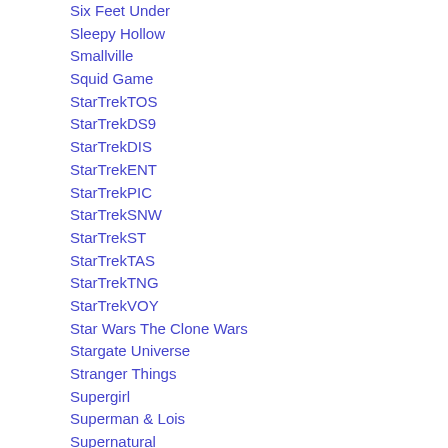Six Feet Under
Sleepy Hollow
Smallville
Squid Game
StarTrekTOS
StarTrekDS9
StarTrekDIS
StarTrekENT
StarTrekPIC
StarTrekSNW
StarTrekST
StarTrekTAS
StarTrekTNG
StarTrekVOY
Star Wars The Clone Wars
Stargate Universe
Stranger Things
Supergirl
Superman & Lois
Supernatural
T
Terminator
Threshold
Torchwood